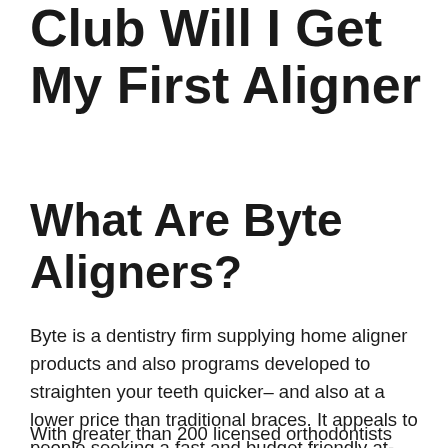Club Will I Get My First Aligner
What Are Byte Aligners?
Byte is a dentistry firm supplying home aligner products and also programs developed to straighten your teeth quicker– and also at a lower price than traditional braces. It appeals to people seeking a fast and budget friendly at-home oral alignment program.
With greater than 200 licensed orthodontists